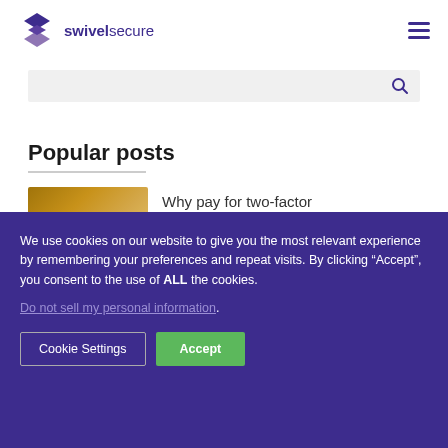[Figure (logo): Swivel Secure logo with geometric diamond/arrow icon in purple and the text 'swivelsecure']
swivelsecure
[Figure (other): Search bar with search icon on grey background]
Popular posts
[Figure (photo): Thumbnail photo showing a warm golden-toned image]
Why pay for two-factor
We use cookies on our website to give you the most relevant experience by remembering your preferences and repeat visits. By clicking “Accept”, you consent to the use of ALL the cookies.
Do not sell my personal information.
Cookie Settings
Accept